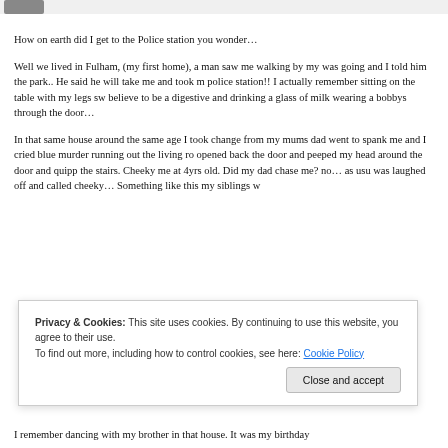How on earth did I get to the Police station you wonder…
Well we lived in Fulham, (my first home), a man saw me walking by my was going and I told him the park.. He said he will take me and took m police station!! I actually remember sitting on the table with my legs sw believe to be a digestive and drinking a glass of milk wearing a bobbys through the door…
In that same house around the same age I took change from my mums dad went to spank me and I cried blue murder running out the living ro opened back the door and peeped my head around the door and quipp the stairs. Cheeky me at 4yrs old. Did my dad chase me? no… as usu was laughed off and called cheeky… Something like this my siblings w
Privacy & Cookies: This site uses cookies. By continuing to use this website, you agree to their use.
To find out more, including how to control cookies, see here: Cookie Policy
Close and accept
I remember dancing with my brother in that house. It was my birthday